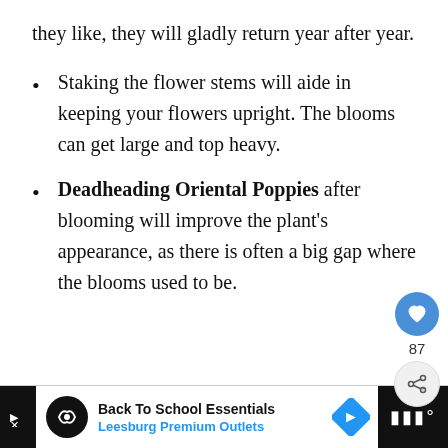they like, they will gladly return year after year.
Staking the flower stems will aide in keeping your flowers upright. The blooms can get large and top heavy.
Deadheading Oriental Poppies after blooming will improve the plant's appearance, as there is often a big gap where the blooms used to be.
[Figure (other): Bottom advertisement bar featuring Back To School Essentials at Leesburg Premium Outlets, with social media like (87) and share buttons on the right side.]